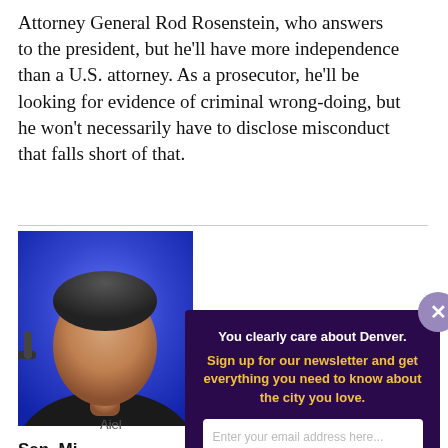Attorney General Rod Rosenstein, who answers to the president, but he'll have more independence than a U.S. attorney. As a prosecutor, he'll be looking for evidence of criminal wrong-doing, but he won't necessarily have to disclose misconduct that falls short of that.
[Figure (photo): Man in foreground against blue background, partial face visible]
Aiel
Sen. Mi
Party: D
[Figure (screenshot): Newsletter signup modal overlay with dark purple background. Text: 'You clearly care about Denver. Sign up for our newsletter and get everything you need to know about the city you love.' Email input field and 'Sign me up!' button.]
f S